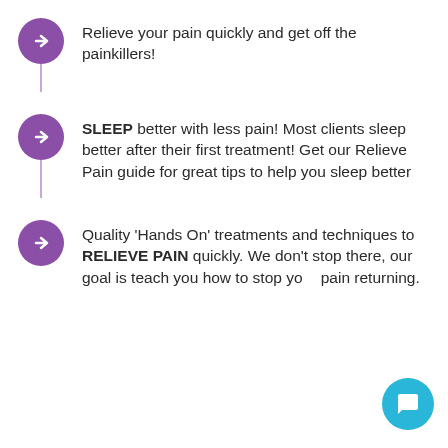Relieve your pain quickly and get off the painkillers!
SLEEP better with less pain! Most clients sleep better after their first treatment! Get our Relieve Pain guide for great tips to help you sleep better
Quality 'Hands On' treatments and techniques to RELIEVE PAIN quickly. We don't stop there, our goal is teach you how to stop your pain returning.